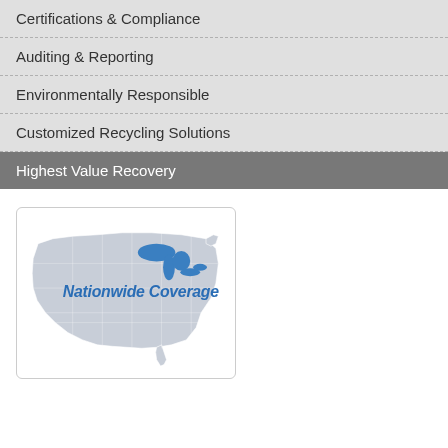Certifications & Compliance
Auditing & Reporting
Environmentally Responsible
Customized Recycling Solutions
Highest Value Recovery
[Figure (map): Map of the United States with Great Lakes shown in blue, overlaid with italic bold blue text reading 'Nationwide Coverage']